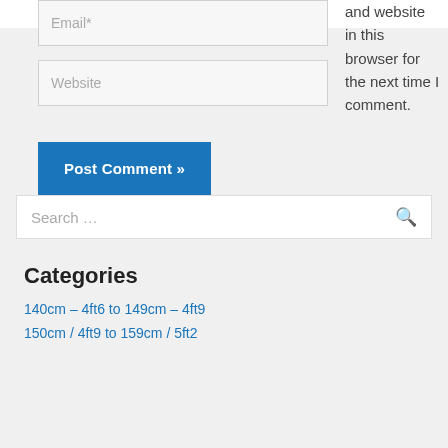and website in this browser for the next time I comment.
Email*
Website
Post Comment »
Search …
Categories
140cm – 4ft6 to 149cm – 4ft9
150cm / 4ft9 to 159cm / 5ft2